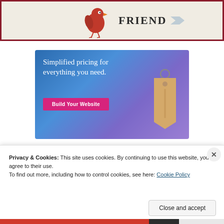[Figure (photo): Partial photo showing a greeting card or sign with the word FRIEND in dark letters, and a red bird illustration on a white background with dark red border frame]
[Figure (infographic): Advertisement banner with blue-to-purple gradient background. Text reads 'Simplified pricing for everything you need.' with a pink 'Build Your Website' button and a hanging price tag graphic on the right side.]
Privacy & Cookies: This site uses cookies. By continuing to use this website, you agree to their use.
To find out more, including how to control cookies, see here: Cookie Policy
Close and accept